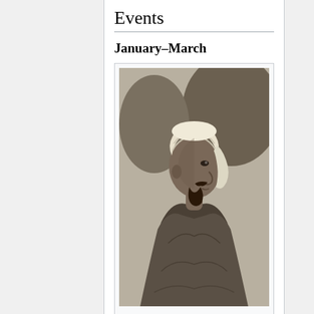Events
January–March
[Figure (photo): Black and white portrait illustration of Menelik II, a man wearing a turban and draped robe, shown in profile facing right.]
January 6: Menelik II
January 11 – Louis Pasteur's anti-rabies treatment is defended in the Académie Nationale de